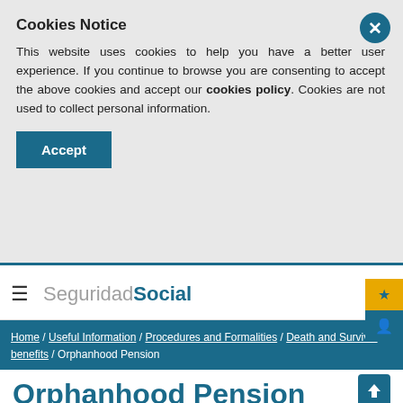Cookies Notice
This website uses cookies to help you have a better user experience. If you continue to browse you are consenting to accept the above cookies and accept our cookies policy. Cookies are not used to collect personal information.
Accept
[Figure (logo): SeguridadSocial logo with hamburger menu and search icon in navigation bar]
Home / Useful Information / Procedures and Formalities / Death and Survival benefits / Orphanhood Pension
Orphanhood Pension